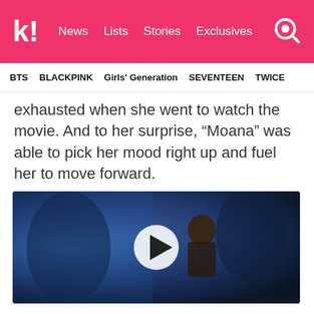K! News Lists Stories Exclusives
BTS  BLACKPINK  Girls' Generation  SEVENTEEN  TWICE
exhausted when she went to watch the movie. And to her surprise, “Moana” was able to pick her mood right up and fuel her to move forward.
[Figure (screenshot): Video thumbnail showing an animated character from Moana in a blue-lit scene with a play button overlay]
I actually became 120% charged after watching the movie. I was like, ‘YES! I